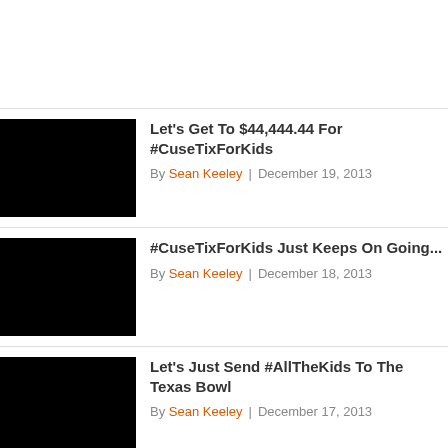Let's Get To $44,444.44 For #CuseTixForKids — By Sean Keeley | December 19, 2013
#CuseTixForKids Just Keeps On Going... — By Sean Keeley | December 18, 2013
Let's Just Send #AllTheKids To The Texas Bowl — By Sean Keeley | December 17, 2013